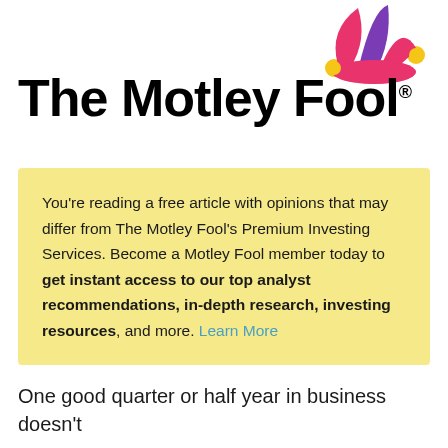[Figure (logo): The Motley Fool logo with jester hat icon (pink and purple) and bold black wordmark 'The Motley Fool.']
You're reading a free article with opinions that may differ from The Motley Fool's Premium Investing Services. Become a Motley Fool member today to get instant access to our top analyst recommendations, in-depth research, investing resources, and more. Learn More
One good quarter or half year in business doesn't